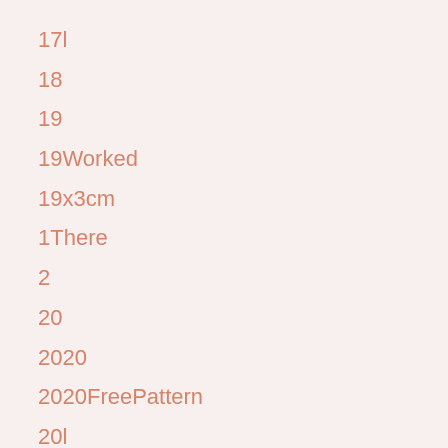17l
18
19
19Worked
19x3cm
1There
2
20
2020
2020FreePattern
20l
20_Brand_New_Best_Kitchen_Gadgets_In_Market_2018
21
218